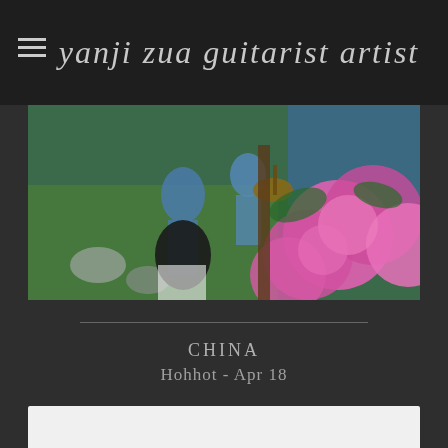Yanji Zua Guitarist Artist
[Figure (photo): Outdoor garden scene with people, guitar player, and large pink peony flowers in foreground, green grass and garden furniture in background]
CHINA
Hohhot - Apr 18
“Whisper of Sand”